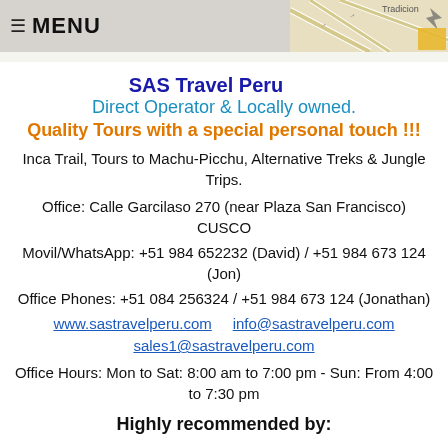≡ MENU
[Figure (map): Partial street map background visible in upper right corner]
SAS Travel Peru    Direct Operator & Locally owned.
Quality Tours with a special personal touch !!!
Inca Trail, Tours to Machu-Picchu, Alternative Treks & Jungle Trips.
Office: Calle Garcilaso 270 (near Plaza San Francisco) CUSCO
Movil/WhatsApp: +51 984 652232 (David) / +51 984 673 124 (Jon)
Office Phones: +51 084 256324 / +51 984 673 124 (Jonathan)
www.sastravelperu.com    info@sastravelperu.com    sales1@sastravelperu.com
Office Hours: Mon to Sat: 8:00 am to 7:00 pm - Sun: From 4:00 to 7:30 pm
Highly recommended by: